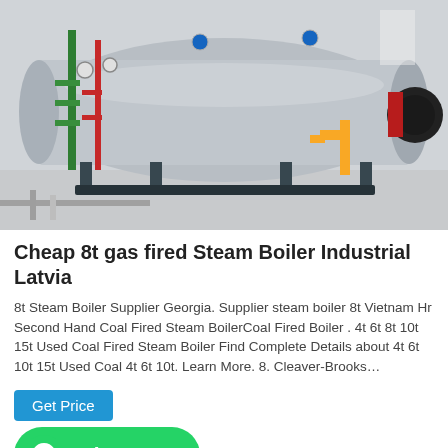[Figure (photo): Industrial gas-fired steam boiler in a factory/plant setting, showing a large cylindrical stainless steel boiler with pipes, gauges, green and red pipe fittings, yellow gas pipe, and a burner unit on the right side.]
Cheap 8t gas fired Steam Boiler Industrial Latvia
8t Steam Boiler Supplier Georgia. Supplier steam boiler 8t Vietnam Hr Second Hand Coal Fired Steam BoilerCoal Fired Boiler . 4t 6t 8t 10t 15t Used Coal Fired Steam Boiler Find Complete Details about 4t 6t 10t 15t Used Coal 4t 6t 10t. Learn More. 8. Cleaver-Brooks…
[Figure (screenshot): Get Price button (blue) and WhatsApp button (green with WhatsApp logo)]
[Figure (photo): Partial bottom photo showing an industrial interior with overhead structure, pipes, and equipment in dark tones.]